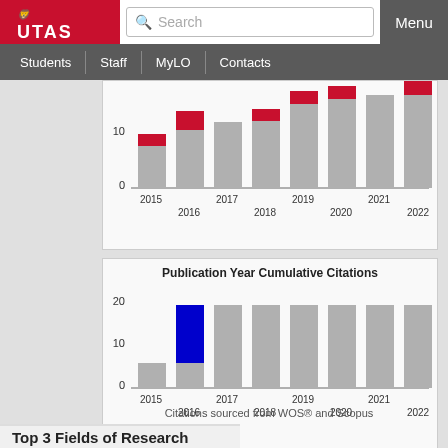[Figure (screenshot): UTAS university website header with logo, search bar, Menu button, and navigation links: Students, Staff, MyLO, Contacts]
[Figure (stacked-bar-chart): Partial stacked bar chart showing publication data from 2015 to 2022 with gray and red bars. Y-axis shows 0 and 10. X-axis years: 2015, 2016, 2017, 2018, 2019, 2020, 2021, 2022.]
[Figure (stacked-bar-chart): Publication Year Cumulative Citations]
Citations sourced from WOS® and Scopus
Top 3 Fields of Research